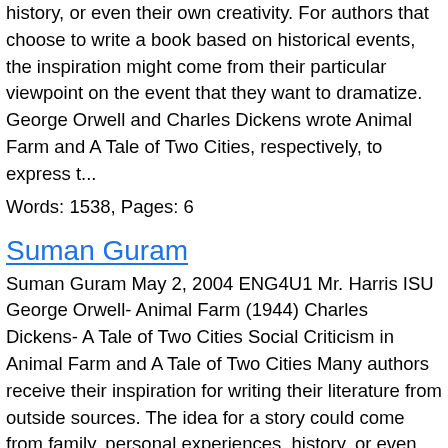history, or even their own creativity. For authors that choose to write a book based on historical events, the inspiration might come from their particular viewpoint on the event that they want to dramatize. George Orwell and Charles Dickens wrote Animal Farm and A Tale of Two Cities, respectively, to express t...
Words: 1538, Pages: 6
Suman Guram
Suman Guram May 2, 2004 ENG4U1 Mr. Harris ISU George Orwell- Animal Farm (1944) Charles Dickens- A Tale of Two Cities Social Criticism in Animal Farm and A Tale of Two Cities Many authors receive their inspiration for writing their literature from outside sources. The idea for a story could come from family, personal experiences, history, or even their own creativity. For authors that choose to write a book based on historical events, the inspiration might come from their